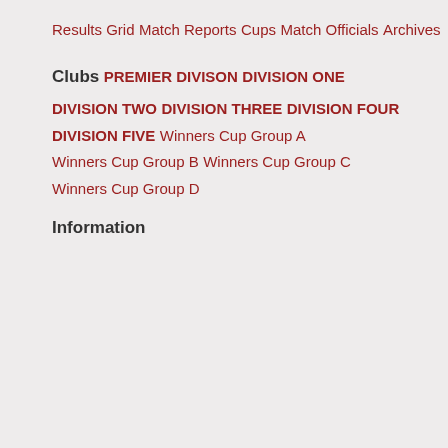Results Grid
Match Reports
Cups
Match Officials
Archives
Clubs
PREMIER DIVISON
DIVISION ONE
DIVISION TWO
DIVISION THREE
DIVISION FOUR
DIVISION FIVE
Winners Cup Group A
Winners Cup Group B
Winners Cup Group C
Winners Cup Group D
Information